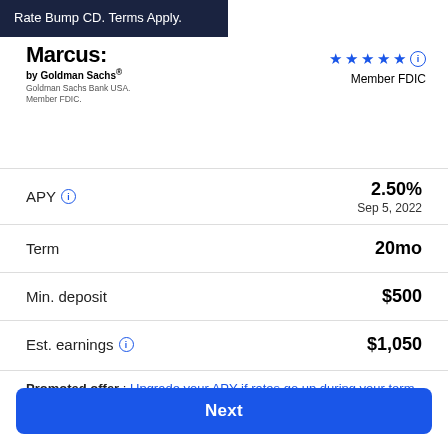Rate Bump CD. Terms Apply.
[Figure (logo): Marcus by Goldman Sachs logo with text 'by Goldman Sachs', 'Goldman Sachs Bank USA.', 'Member FDIC.']
★★★★★ ⓘ  Member FDIC
APY ⓘ  2.50%  Sep 5, 2022
Term  20mo
Min. deposit  $500
Est. earnings ⓘ  $1,050
Promoted offer : Upgrade your APY if rates go up during your term. Terms Apply.
Next